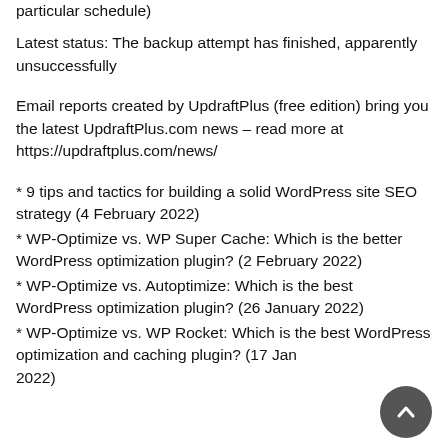particular schedule)
Latest status: The backup attempt has finished, apparently unsuccessfully
Email reports created by UpdraftPlus (free edition) bring you the latest UpdraftPlus.com news – read more at https://updraftplus.com/news/
* 9 tips and tactics for building a solid WordPress site SEO strategy (4 February 2022)
* WP-Optimize vs. WP Super Cache: Which is the better WordPress optimization plugin? (2 February 2022)
* WP-Optimize vs. Autoptimize: Which is the best WordPress optimization plugin? (26 January 2022)
* WP-Optimize vs. WP Rocket: Which is the best WordPress optimization and caching plugin? (17 January 2022)